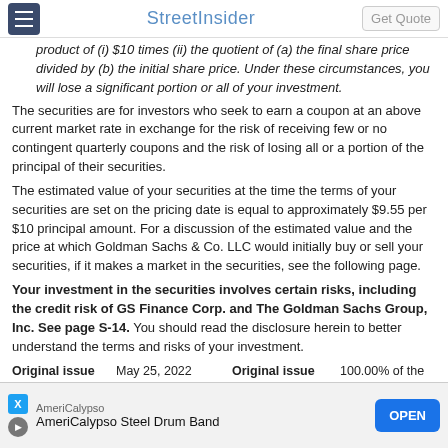StreetInsider
product of (i) $10 times (ii) the quotient of (a) the final share price divided by (b) the initial share price. Under these circumstances, you will lose a significant portion or all of your investment.
The securities are for investors who seek to earn a coupon at an above current market rate in exchange for the risk of receiving few or no contingent quarterly coupons and the risk of losing all or a portion of the principal of their securities.
The estimated value of your securities at the time the terms of your securities are set on the pricing date is equal to approximately $9.55 per $10 principal amount. For a discussion of the estimated value and the price at which Goldman Sachs & Co. LLC would initially buy or sell your securities, if it makes a market in the securities, see the following page.
Your investment in the securities involves certain risks, including the credit risk of GS Finance Corp. and The Goldman Sachs Group, Inc. See page S-14. You should read the disclosure herein to better understand the terms and risks of your investment.
|  |  |  |  |
| --- | --- | --- | --- |
| Original issue date: | May 25, 2022 | Original issue price: | 100.00% of the principal amount |
| Underwriting discount: | 2.50% ($249,236.25 in total)* | Net proceeds to the issuer: | 97.50% ($9,720,213.75 in total) |
*Morgan S... offering, will receiv... s. It has